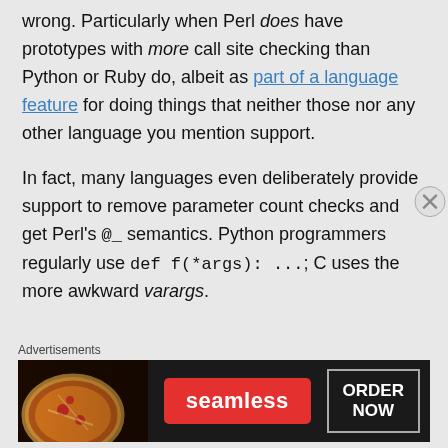wrong. Particularly when Perl does have prototypes with more call site checking than Python or Ruby do, albeit as part of a language feature for doing things that neither those nor any other language you mention support.
In fact, many languages even deliberately provide support to remove parameter count checks and get Perl's @_ semantics. Python programmers regularly use def f(*args): ...; C uses the more awkward varargs.
Advertisements
[Figure (photo): Seamless food delivery advertisement banner showing pizza image on left, Seamless logo in red badge center, and ORDER NOW button on right, on dark background.]